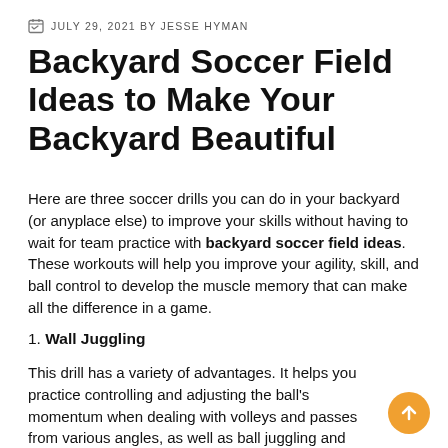JULY 29, 2021 BY JESSE HYMAN
Backyard Soccer Field Ideas to Make Your Backyard Beautiful
Here are three soccer drills you can do in your backyard (or anyplace else) to improve your skills without having to wait for team practice with backyard soccer field ideas. These workouts will help you improve your agility, skill, and ball control to develop the muscle memory that can make all the difference in a game.
1. Wall Juggling
This drill has a variety of advantages. It helps you practice controlling and adjusting the ball's momentum when dealing with volleys and passes from various angles, as well as ball juggling and general reflex time.